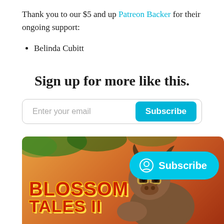Thank you to our $5 and up Patreon Backer for their ongoing support:
Belinda Cubitt
Sign up for more like this.
[Figure (screenshot): Email subscription form with 'Enter your email' placeholder text and a cyan 'Subscribe' button]
[Figure (illustration): Blossom Tales II game banner with colorful game art showing a bison character, orange/desert background, and a cyan 'Subscribe' pill button with an icon]